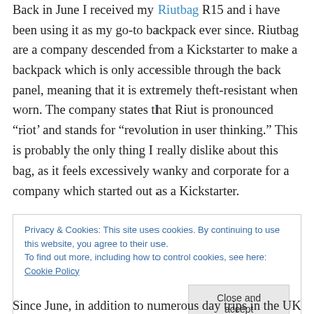Back in June I received my Riutbag R15 and i have been using it as my go-to backpack ever since. Riutbag are a company descended from a Kickstarter to make a backpack which is only accessible through the back panel, meaning that it is extremely theft-resistant when worn. The company states that Riut is pronounced “riot’ and stands for “revolution in user thinking.” This is probably the only thing I really dislike about this bag, as it feels excessively wanky and corporate for a company which started out as a Kickstarter.
Privacy & Cookies: This site uses cookies. By continuing to use this website, you agree to their use. To find out more, including how to control cookies, see here: Cookie Policy
Close and accept
Since June, in addition to numerous day trips in the UK